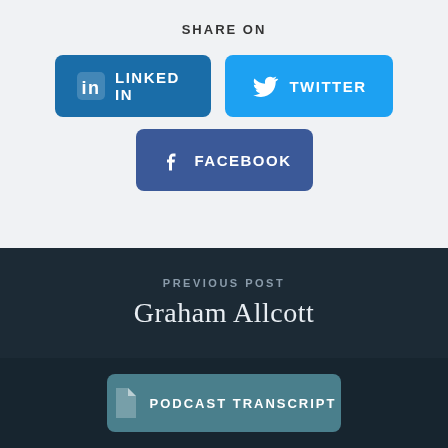SHARE ON
LINKED IN
TWITTER
FACEBOOK
PREVIOUS POST
Graham Allcott
PODCAST TRANSCRIPT